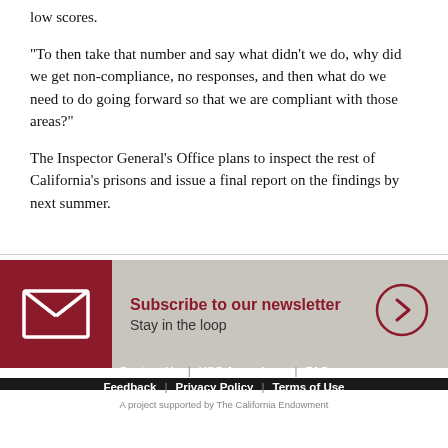low scores.
"To then take that number and say what didn't we do, why did we get non-compliance, no responses, and then what do we need to do going forward so that we are compliant with those areas?"
The Inspector General's Office plans to inspect the rest of California's prisons and issue a final report on the findings by next summer.
[Figure (infographic): Newsletter subscription banner with dark red envelope icon on left, 'Subscribe to our newsletter / Stay in the loop' text in center, and circular arrow button on right, on a grey background.]
Contact Us | USC Annenberg | FAQ | Feedback | Privacy Policy | Terms of Use